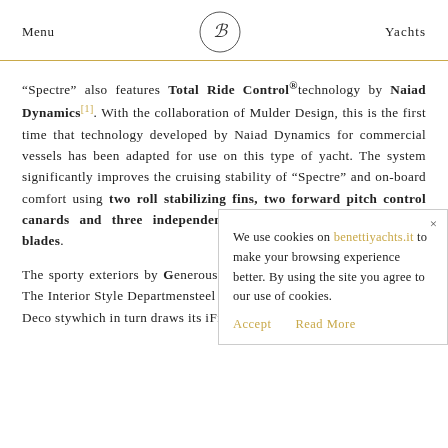Menu  [Benetti logo]  Yachts
"Spectre" also features Total Ride Control® technology by Naiad Dynamics[1]. With the collaboration of Mulder Design, this is the first time that technology developed by Naiad Dynamics for commercial vessels has been adapted for use on this type of yacht. The system significantly improves the cruising stability of "Spectre" and on-board comfort using two roll stabilizing fins, two forward pitch control canards and three independently controlled stern interceptor blades.
The sporty exteriors by G[...] generous interiors, in a d[...] without imposition. The [...] Interior Style Departmen[...] steel detailing and sculpt[...] up the 1930s Art Deco sty[...] which in turn draws its i[...] French Liberty style.
We use cookies on benettiyachts.it to make your browsing experience better. By using the site you agree to our use of cookies.